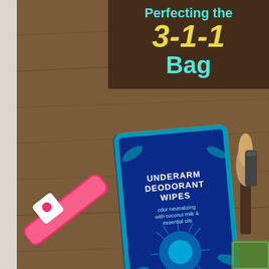[Figure (photo): Photo of travel toiletry items on a wooden surface: a packet of Underarm Deodorant Wipes (blue package with tropical leaf design, text: UNDERARM DEODORANT WIPES, odor neutralizing with coconut milk & essential oils, all skin types, sulfate + paraben free, 10 pre-moistened towelettes), a pink and white razor, a makeup brush, and other small cosmetic items. A dark brown banner overlay at top right contains text about 3-1-1 Bag.]
Perfecting the 3-1-1 Bag